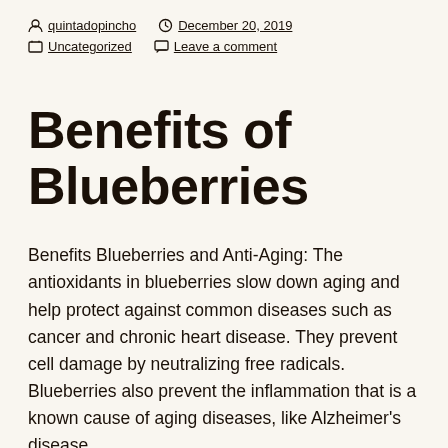quintadopincho  December 20, 2019  Uncategorized  Leave a comment
Benefits of Blueberries
Benefits Blueberries and Anti-Aging: The antioxidants in blueberries slow down aging and help protect against common diseases such as cancer and chronic heart disease. They prevent cell damage by neutralizing free radicals. Blueberries also prevent the inflammation that is a known cause of aging diseases, like Alzheimer's disease